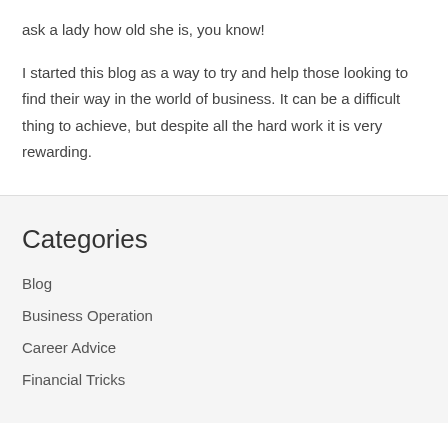ask a lady how old she is, you know!
I started this blog as a way to try and help those looking to find their way in the world of business. It can be a difficult thing to achieve, but despite all the hard work it is very rewarding.
Categories
Blog
Business Operation
Career Advice
Financial Tricks